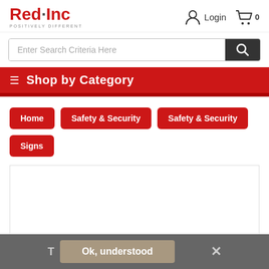Red·Inc POSITIVELY DIFFERENT Login 0
Enter Search Criteria Here
≡ Shop by Category
Home
Safety & Security
Safety & Security
Signs
T  Ok, understood  ✕